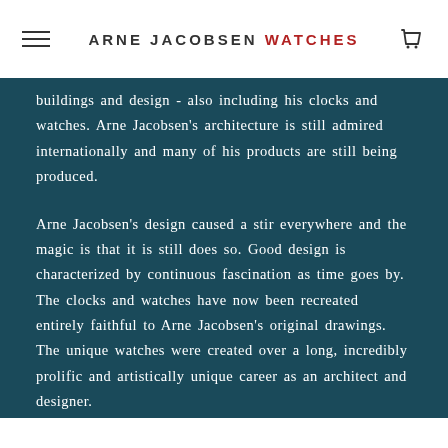ARNE JACOBSEN WATCHES
buildings and design - also including his clocks and watches. Arne Jacobsen's architecture is still admired internationally and many of his products are still being produced.
Arne Jacobsen's design caused a stir everywhere and the magic is that it is still does so. Good design is characterized by continuous fascination as time goes by. The clocks and watches have now been recreated entirely faithful to Arne Jacobsen's original drawings. The unique watches were created over a long, incredibly prolific and artistically unique career as an architect and designer.